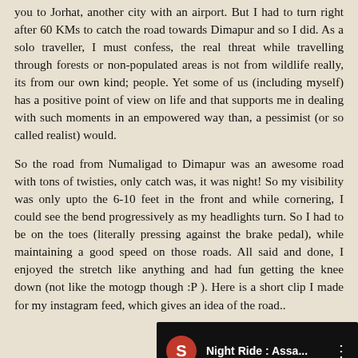you to Jorhat, another city with an airport. But I had to turn right after 60 KMs to catch the road towards Dimapur and so I did. As a solo traveller, I must confess, the real threat while travelling through forests or non-populated areas is not from wildlife really, its from our own kind; people. Yet some of us (including myself) has a positive point of view on life and that supports me in dealing with such moments in an empowered way than, a pessimist (or so called realist) would.
So the road from Numaligad to Dimapur was an awesome road with tons of twisties, only catch was, it was night! So my visibility was only upto the 6-10 feet in the front and while cornering, I could see the bend progressively as my headlights turn. So I had to be on the toes (literally pressing against the brake pedal), while maintaining a good speed on those roads. All said and done, I enjoyed the stretch like anything and had fun getting the knee down (not like the motogp though :P ). Here is a short clip I made for my instagram feed, which gives an idea of the road..
[Figure (screenshot): Video thumbnail showing a black background with a red circular avatar with letter S, and white text reading 'Night Ride : Assa...' with a vertical dots menu icon]